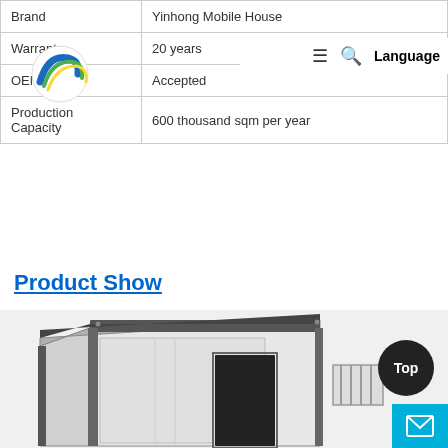|  |  |
| --- | --- |
| Brand | Yinhong Mobile House |
| Warranty | 20 years |
| OEM | Accepted |
| Production Capacity | 600 thousand sqm per year |
Product Show
[Figure (photo): A prefabricated container mobile house unit shown in 3D perspective, with dark grey steel frame, white panels, a dark door on the front face, and a white barred window on the right side face.]